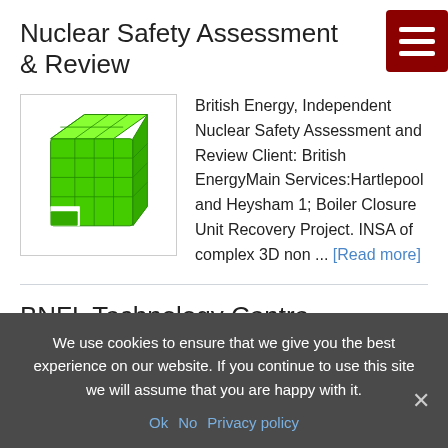Nuclear Safety Assessment & Review
[Figure (illustration): 3D green wireframe/render of a nuclear reactor core component]
British Energy, Independent Nuclear Safety Assessment and Review Client: British EnergyMain Services:Hartlepool and Heysham 1; Boiler Closure Unit Recovery Project. INSA of complex 3D non ... [Read more]
BNFL Technology Centre
[Figure (photo): Photograph of BNFL Technology Centre building at Sellafield, a modern glass and steel structure]
BNFL Technology Centre, Sellafield Client: Stockport MBC/TfGM Location: SellafieldMain Services:Seismic analysis
We use cookies to ensure that we give you the best experience on our website. If you continue to use this site we will assume that you are happy with it.
Ok  No  Privacy policy